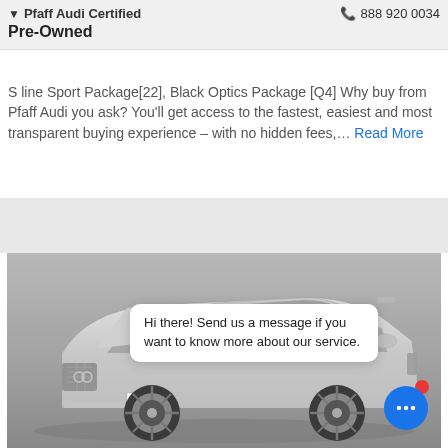Pfaff Audi Certified Pre-Owned   888 920 0034
S line Sport Package[22], Black Optics Package [Q4] Why buy from Pfaff Audi you ask? You'll get access to the fastest, easiest and most transparent buying experience – with no hidden fees,… Read More
[Figure (photo): Black and white photo of a white Audi SUV (Q series) with Pfaff Audi license plate holder, shot from a front three-quarter angle in a studio-like setting.]
Hi there! Send us a message if you want to know more about our service.